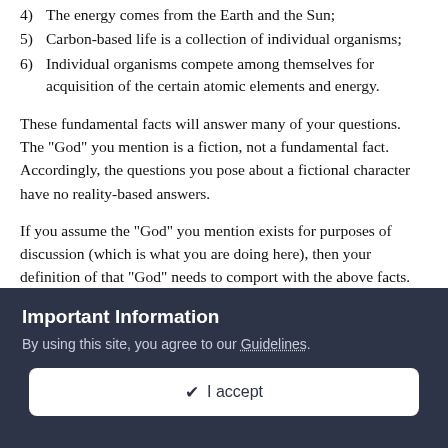4)  The energy comes from the Earth and the Sun;
5)  Carbon-based life is a collection of individual organisms;
6)  Individual organisms compete among themselves for acquisition of the certain atomic elements and energy.
These fundamental facts will answer many of your questions. The "God" you mention is a fiction, not a fundamental fact. Accordingly, the questions you pose about a fictional character have no reality-based answers.
If you assume the "God" you mention exists for purposes of discussion (which is what you are doing here), then your definition of that "God" needs to comport with the above facts. In this context, the answers to the questions you ask above concerning this "God" will either (i) cause you to redefine the "God" in an interitive process, particularly with respect to any
Important Information
By using this site, you agree to our Guidelines.
✔ I accept